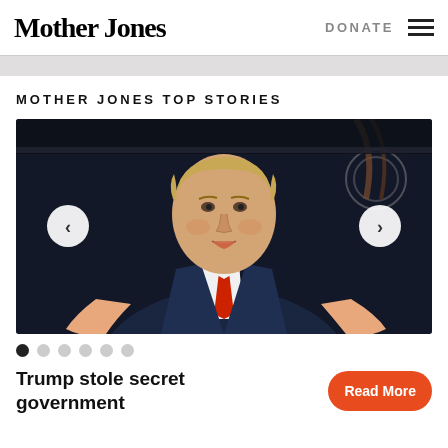Mother Jones  DONATE  ☰
MOTHER JONES TOP STORIES
[Figure (photo): A man in a dark navy suit with a red tie gestures with both hands open, speaking. He has blonde hair and is photographed against a dark background. Carousel navigation arrows appear on left and right sides of the image.]
● ○ ○ ○ ○ ○
Trump stole secret government
Read More